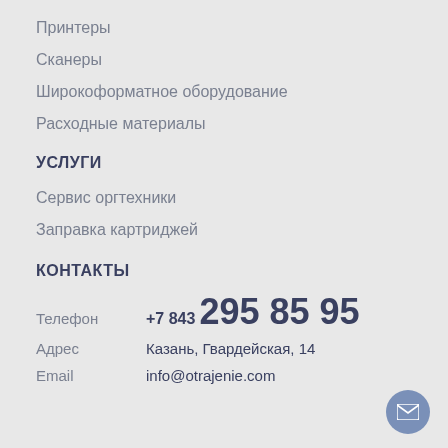Принтеры
Сканеры
Широкоформатное оборудование
Расходные материалы
УСЛУГИ
Сервис оргтехники
Заправка картриджей
КОНТАКТЫ
Телефон  +7 843  295 85 95
Адрес  Казань, Гвардейская, 14
Email  info@otrajenie.com